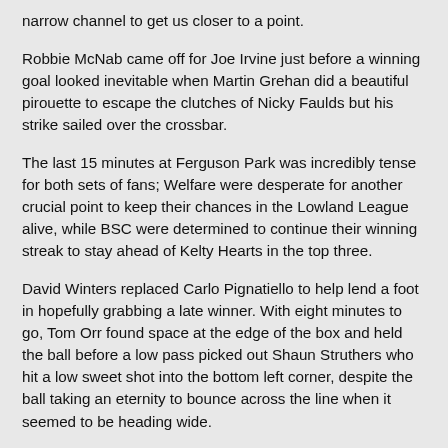narrow channel to get us closer to a point.
Robbie McNab came off for Joe Irvine just before a winning goal looked inevitable when Martin Grehan did a beautiful pirouette to escape the clutches of Nicky Faulds but his strike sailed over the crossbar.
The last 15 minutes at Ferguson Park was incredibly tense for both sets of fans; Welfare were desperate for another crucial point to keep their chances in the Lowland League alive, while BSC were determined to continue their winning streak to stay ahead of Kelty Hearts in the top three.
David Winters replaced Carlo Pignatiello to help lend a foot in hopefully grabbing a late winner. With eight minutes to go, Tom Orr found space at the edge of the box and held the ball before a low pass picked out Shaun Struthers who hit a low sweet shot into the bottom left corner, despite the ball taking an eternity to bounce across the line when it seemed to be heading wide.